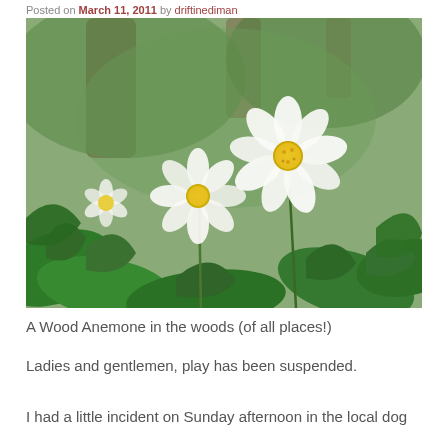Posted on March 11, 2011 by driftinediman
[Figure (photo): Two white Wood Anemone flowers with yellow centres blooming among green leaves in a woodland setting, with tree trunks visible in the blurred background.]
A Wood Anemone in the woods (of all places!)
Ladies and gentlemen, play has been suspended.
I had a little incident on Sunday afternoon in the local dog